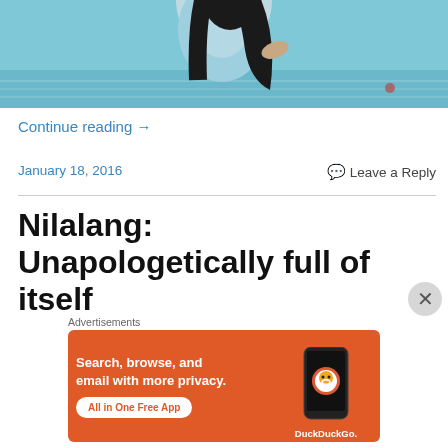[Figure (photo): Photo of a person with long dark hair wearing a light blue tie-dye shirt, standing near water, upper body visible against a blue background.]
Continue reading →
January 18, 2016
💬 Leave a Reply
Nilalang: Unapologetically full of itself
Advertisements
[Figure (screenshot): DuckDuckGo advertisement banner on orange background. Text: 'Search, browse, and email with more privacy. All in One Free App'. Shows a phone with DuckDuckGo logo and brand name.]